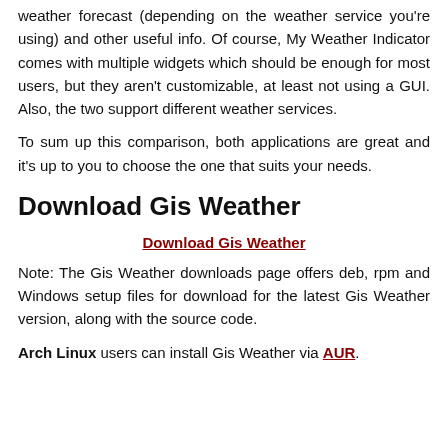weather forecast (depending on the weather service you're using) and other useful info. Of course, My Weather Indicator comes with multiple widgets which should be enough for most users, but they aren't customizable, at least not using a GUI. Also, the two support different weather services.
To sum up this comparison, both applications are great and it's up to you to choose the one that suits your needs.
Download Gis Weather
Download Gis Weather
Note: The Gis Weather downloads page offers deb, rpm and Windows setup files for download for the latest Gis Weather version, along with the source code.
Arch Linux users can install Gis Weather via AUR.